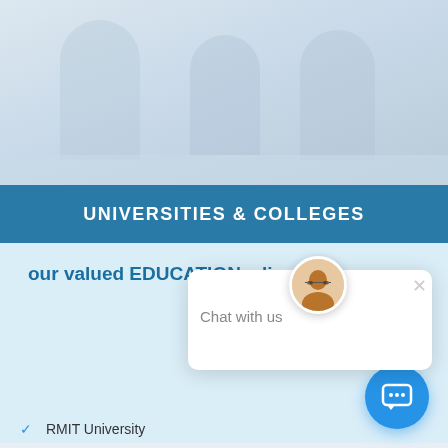[Figure (screenshot): Top background area with faded blue/gray gradient, appears to show a blurred photograph background]
UNIVERSITIES & COLLEGES
our valued EDUCATION  clients
[Figure (screenshot): Chat widget popup with avatar icon and 'Chat with us' text, plus blue chat button circle in bottom right]
RMIT University